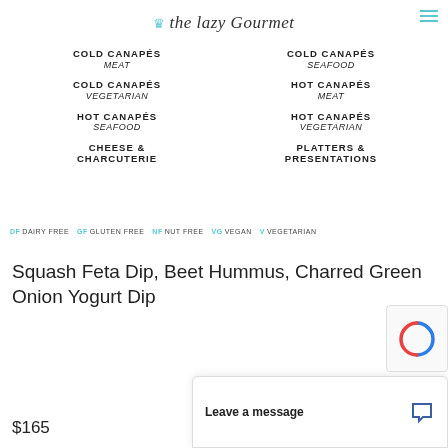the lazy Gourmet
COLD CANAPÉS MEAT
COLD CANAPÉS SEAFOOD
COLD CANAPÉS VEGETARIAN
HOT CANAPÉS MEAT
HOT CANAPÉS SEAFOOD
HOT CANAPÉS VEGETARIAN
CHEESE & CHARCUTERIE
PLATTERS & PRESENTATIONS
DF DAIRY FREE  GF GLUTEN FREE  NF NUT FREE  VG VEGAN  V VEGETARIAN
Squash Feta Dip, Beet Hummus, Charred Green Onion Yogurt Dip
$165